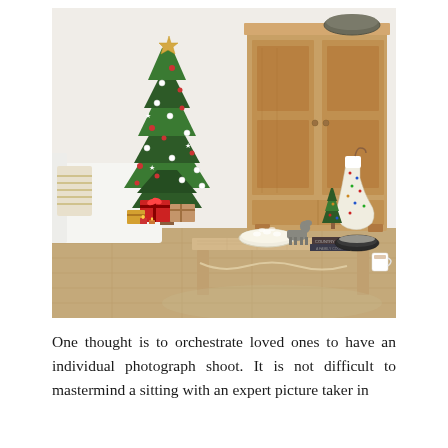[Figure (photo): A cozy Christmas living room scene with a decorated Christmas tree on the left with star topper, red and white ornaments, and wrapped gifts underneath. A large rustic pine wood armoire/wardrobe on the right with a Christmas stocking hanging from it and a wire basket on top. In the foreground, a weathered wooden coffee table with a bowl of popcorn, a small decorative Christmas tree, a toy horse figurine, a dark bowl, two books, and a white mug. A white sofa with striped pillow is visible on the left. Hardwood floors and bright white walls.]
One thought is to orchestrate loved ones to have an individual photograph shoot. It is not difficult to mastermind a sitting with an expert picture taker in